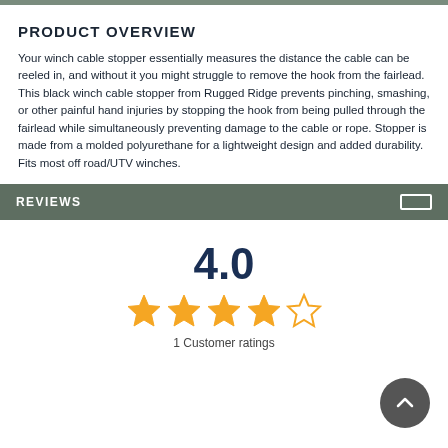PRODUCT OVERVIEW
Your winch cable stopper essentially measures the distance the cable can be reeled in, and without it you might struggle to remove the hook from the fairlead. This black winch cable stopper from Rugged Ridge prevents pinching, smashing, or other painful hand injuries by stopping the hook from being pulled through the fairlead while simultaneously preventing damage to the cable or rope. Stopper is made from a molded polyurethane for a lightweight design and added durability. Fits most off road/UTV winches.
REVIEWS
4.0
1 Customer ratings